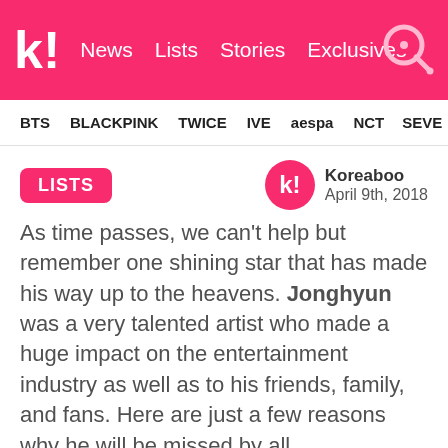k! News Lists Stories Exclusives
BTS BLACKPINK TWICE IVE aespa NCT SEVE
LISTS
Koreaboo April 9th, 2018
As time passes, we can't help but remember one shining star that has made his way up to the heavens. Jonghyun was a very talented artist who made a huge impact on the entertainment industry as well as to his friends, family, and fans. Here are just a few reasons why he will be missed by all.
1. Inspiration